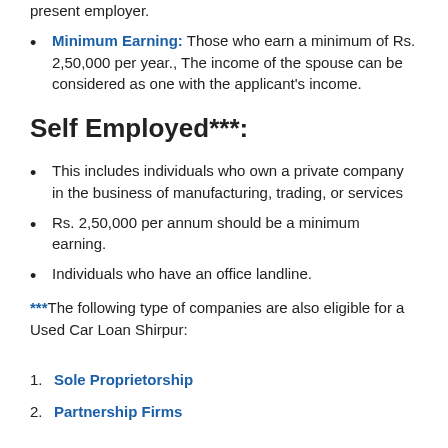present employer.
Minimum Earning: Those who earn a minimum of Rs. 2,50,000 per year., The income of the spouse can be considered as one with the applicant's income.
Self Employed***:
This includes individuals who own a private company in the business of manufacturing, trading, or services
Rs. 2,50,000 per annum should be a minimum earning.
Individuals who have an office landline.
***The following type of companies are also eligible for a Used Car Loan Shirpur:
Sole Proprietorship
Partnership Firms